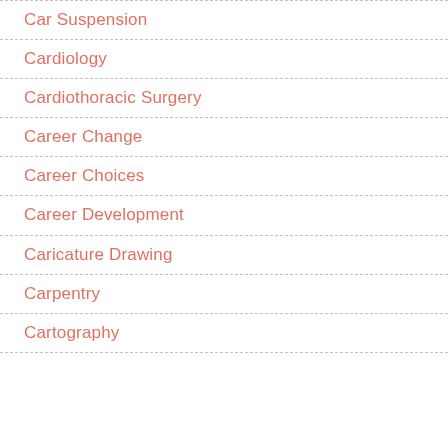Car Suspension
Cardiology
Cardiothoracic Surgery
Career Change
Career Choices
Career Development
Caricature Drawing
Carpentry
Cartography